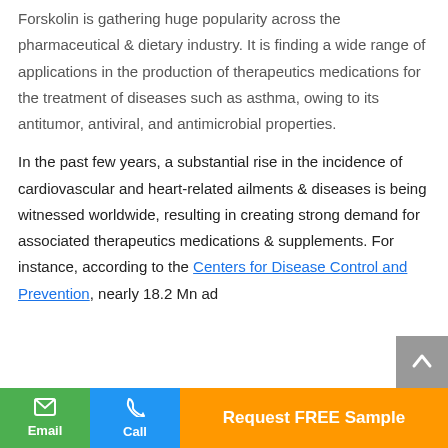Forskolin is gathering huge popularity across the pharmaceutical & dietary industry. It is finding a wide range of applications in the production of therapeutics medications for the treatment of diseases such as asthma, owing to its antitumor, antiviral, and antimicrobial properties.
In the past few years, a substantial rise in the incidence of cardiovascular and heart-related ailments & diseases is being witnessed worldwide, resulting in creating strong demand for associated therapeutics medications & supplements. For instance, according to the Centers for Disease Control and Prevention, nearly 18.2 Mn ad...
Email | Call | Request FREE Sample